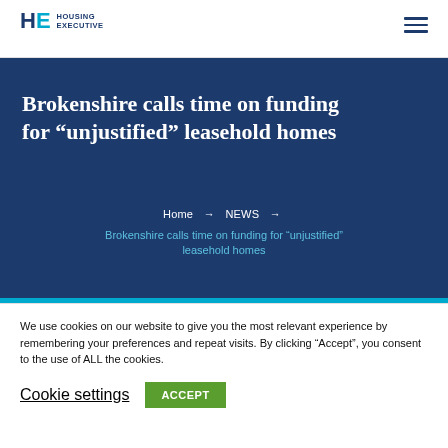HE HOUSING EXECUTIVE
Brokenshire calls time on funding for “unjustified” leasehold homes
Home → NEWS → Brokenshire calls time on funding for “unjustified” leasehold homes
We use cookies on our website to give you the most relevant experience by remembering your preferences and repeat visits. By clicking “Accept”, you consent to the use of ALL the cookies.
Cookie settings  ACCEPT